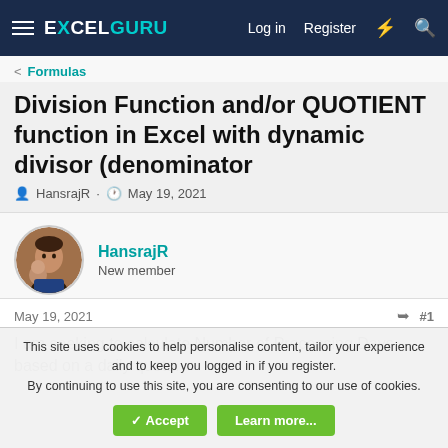EXCELGURU  Log in  Register
< Formulas
Division Function and/or QUOTIENT function in Excel with dynamic divisor (denominator
HansrajR · May 19, 2021
HansrajR
New member
May 19, 2021  #1
I am seeking to calculate Number of Processing Days based on a daily quota.
This site uses cookies to help personalise content, tailor your experience and to keep you logged in if you register.
By continuing to use this site, you are consenting to our use of cookies.
Accept  Learn more...